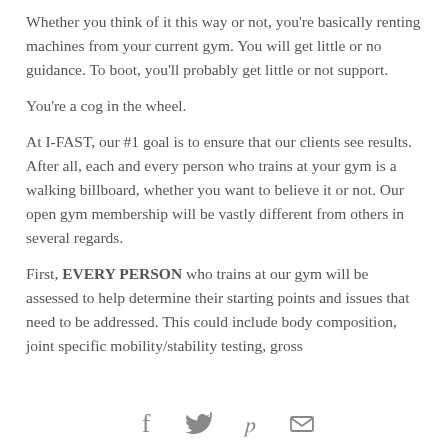Whether you think of it this way or not, you're basically renting machines from your current gym. You will get little or no guidance. To boot, you'll probably get little or not support.
You're a cog in the wheel.
At I-FAST, our #1 goal is to ensure that our clients see results. After all, each and every person who trains at your gym is a walking billboard, whether you want to believe it or not. Our open gym membership will be vastly different from others in several regards.
First, EVERY PERSON who trains at our gym will be assessed to help determine their starting points and issues that need to be addressed. This could include body composition, joint specific mobility/stability testing, gross
[Figure (other): Social media sharing icons: Facebook, Twitter, Pinterest, Email]